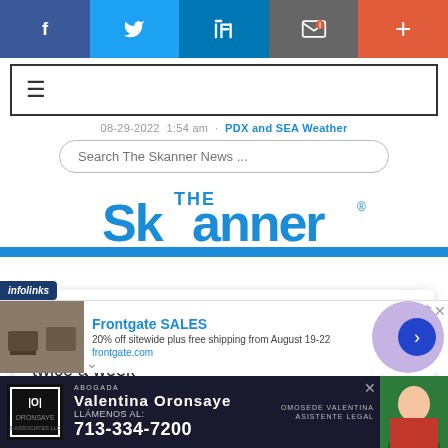[Figure (screenshot): Social media sharing buttons bar: Facebook (blue), Twitter (light blue), LinkedIn (dark blue), Email (gray), Plus/More (orange-red)]
[Figure (screenshot): Hamburger menu navigation bar with three horizontal lines icon]
08-29-2022  1:54 am  ·  PDX and SEA Weather
Search The Skanner News ...
[Figure (logo): The Skanner newspaper logo in blue]
The Skanner delivers...to your inbox! Breaking news, local stories & events sent twice a week
Subscribe
[Figure (screenshot): infolinks badge]
[Figure (screenshot): Frontgate SALES advertisement: 20% off sitewide plus free shipping from August 19-22, frontgate.com]
[Figure (screenshot): Abogada Valentina Oronsaye advertisement with phone number 713-334-7200]